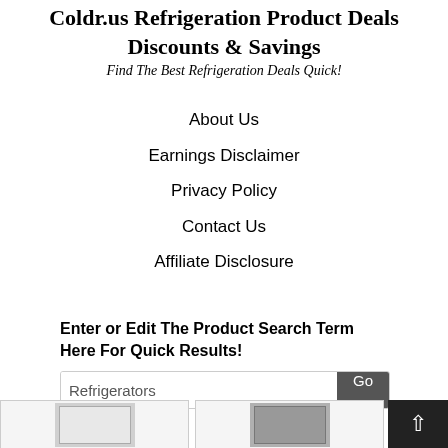Coldr.us Refrigeration Product Deals Discounts & Savings
Find The Best Refrigeration Deals Quick!
About Us
Earnings Disclaimer
Privacy Policy
Contact Us
Affiliate Disclosure
Enter or Edit The Product Search Term Here For Quick Results!
Refrigerators
[Figure (photo): Two refrigerator product images shown side by side at the bottom of the page]
[Figure (other): Scroll to top button with upward arrow]